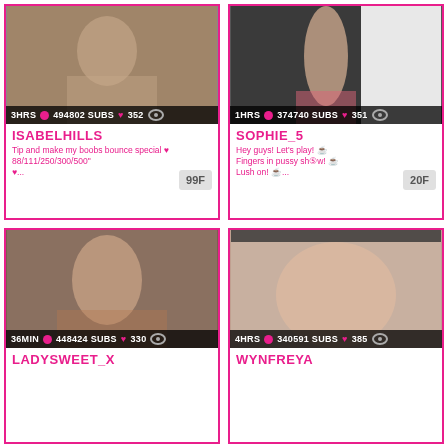[Figure (screenshot): Webcam thumbnail of ISABELHILLS]
3HRS 494802 SUBS 352
ISABELHILLS
Tip and make my boobs bounce￼special ♥ 88/111/250/300/500" ♥...
99F
[Figure (screenshot): Webcam thumbnail of SOPHIE_5]
1HRS 374740 SUBS 351
SOPHIE_5
Hey guys! Let's play! 💛 Fingers in pussy sh⓴w! 💛 Lush on! 💛...
20F
[Figure (screenshot): Webcam thumbnail of LADYSWEET_X]
36MIN 448424 SUBS 330
LADYSWEET_X
[Figure (screenshot): Webcam thumbnail of WYNFREYA]
4HRS 340591 SUBS 385
WYNFREYA